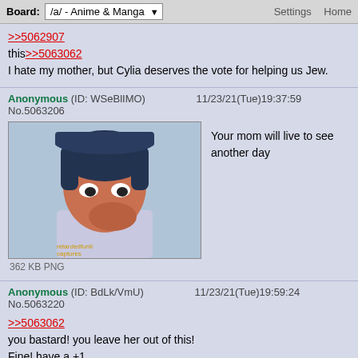Board: /a/ - Anime & Manga  Settings Home
>>5062907
this>>5063062
I hate my mother, but Cylia deserves the vote for helping us Jew.
Anonymous (ID: WSeBlIMO) 11/23/21(Tue)19:37:59 No.5063206
[Figure (illustration): Anime character illustration, 362 KB PNG]
362 KB PNG
Your mom will live to see another day
Anonymous (ID: BdLk/VmU) 11/23/21(Tue)19:59:24 No.5063220
>>5063062
you bastard! you leave her out of this!
Fine! have a +1
Cochrane !!PpplEhKKhlj (ID: Ex6JZ5y7) 11/24/21(Wed)10:09:03 No.5063658
>>5062907